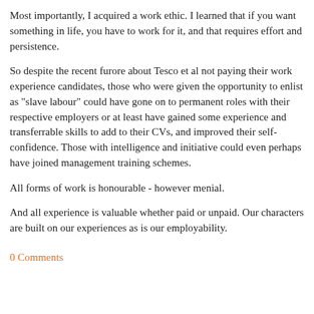Most importantly, I acquired a work ethic.  I learned that if you want something in life, you have to work for it, and that requires effort and persistence.
So despite the recent furore about Tesco et al not paying their work experience candidates, those who were given the opportunity to enlist as "slave labour" could have gone on to permanent roles with their respective employers or at least have gained some experience and transferrable skills to add to their CVs, and improved their self-confidence.  Those with intelligence and initiative could even perhaps have joined management training schemes.
All forms of work is honourable - however menial.
And all experience is valuable whether paid or unpaid.  Our characters are built on our experiences as is our employability.
0 Comments